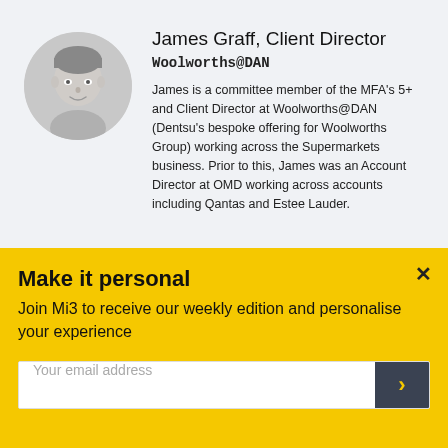[Figure (photo): Circular headshot of James Graff, a young man in a white shirt, black and white photo]
James Graff, Client Director
Woolworths@DAN
James is a committee member of the MFA's 5+ and Client Director at Woolworths@DAN (Dentsu's bespoke offering for Woolworths Group) working across the Supermarkets business. Prior to this, James was an Account Director at OMD working across accounts including Qantas and Estee Lauder.
Make it personal
Join Mi3 to receive our weekly edition and personalise your experience
Your email address